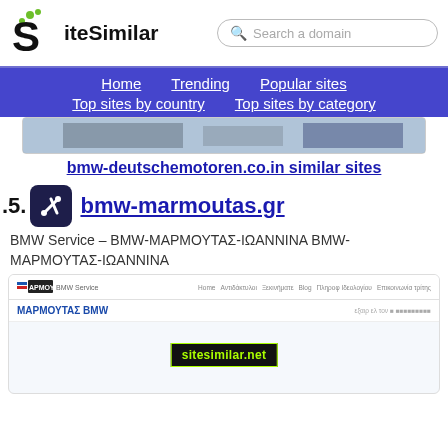[Figure (logo): SiteSimilar logo with green dots and S letter]
Search a domain
Home  Trending  Popular sites  Top sites by country  Top sites by category
[Figure (screenshot): Partial screenshot of bmw-deutschemotoren.co.in website]
bmw-deutschemotoren.co.in similar sites
5.
[Figure (logo): BMW service icon - wrench and screwdriver on dark background]
bmw-marmoutas.gr
BMW Service – BMW-ΜΑΡΜΟΥΤΑΣ-ΙΩΑΝΝΙΝΑ BMW-ΜΑΡΜΟΥΤΑΣ-ΙΩΑΝΝΙΝΑ
[Figure (screenshot): Screenshot of bmw-marmoutas.gr website showing ΜΑΡΜΟΥΤΑΣ BMW heading and sitesimilar.net watermark]